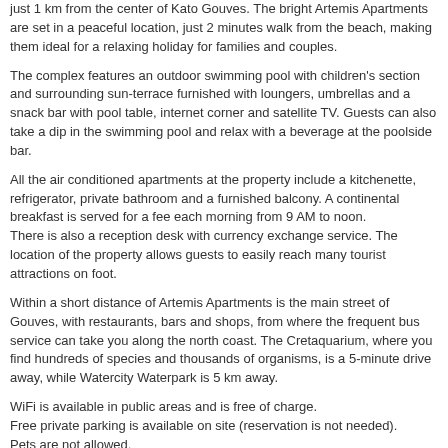just 1 km from the center of Kato Gouves. The bright Artemis Apartments are set in a peaceful location, just 2 minutes walk from the beach, making them ideal for a relaxing holiday for families and couples.
The complex features an outdoor swimming pool with children's section and surrounding sun-terrace furnished with loungers, umbrellas and a snack bar with pool table, internet corner and satellite TV. Guests can also take a dip in the swimming pool and relax with a beverage at the poolside bar.
All the air conditioned apartments at the property include a kitchenette, refrigerator, private bathroom and a furnished balcony. A continental breakfast is served for a fee each morning from 9 AM to noon.
There is also a reception desk with currency exchange service. The location of the property allows guests to easily reach many tourist attractions on foot.
Within a short distance of Artemis Apartments is the main street of Gouves, with restaurants, bars and shops, from where the frequent bus service can take you along the north coast. The Cretaquarium, where you find hundreds of species and thousands of organisms, is a 5-minute drive away, while Watercity Waterpark is 5 km away.
WiFi is available in public areas and is free of charge.
Free private parking is available on site (reservation is not needed).
Pets are not allowed.
Additional Information
A child under 2 years stay free of charge in a crib.
The maximum number of cribs in a room is 1.
Hotel conditions
Check-in time: 14:00